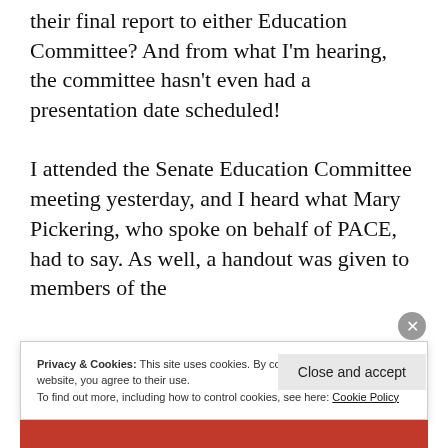their final report to either Education Committee? And from what I'm hearing, the committee hasn't even had a presentation date scheduled!

I attended the Senate Education Committee meeting yesterday, and I heard what Mary Pickering, who spoke on behalf of PACE, had to say. As well, a handout was given to members of the
Privacy & Cookies: This site uses cookies. By continuing to use this website, you agree to their use.
To find out more, including how to control cookies, see here: Cookie Policy
Close and accept